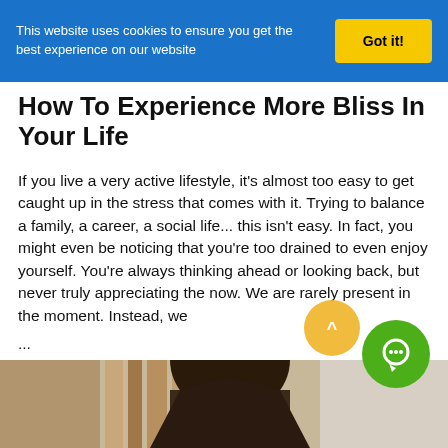This website uses cookies to ensure you get the best experience on our website
How To Experience More Bliss In Your Life
If you live a very active lifestyle, it's almost too easy to get caught up in the stress that comes with it. Trying to balance a family, a career, a social life... this isn't easy. In fact, you might even be noticing that you're too drained to even enjoy yourself. You're always thinking ahead or looking back, but never truly appreciating the now. We are rarely present in the moment. Instead, we
...
Read more »
[Figure (photo): Bottom portion of image showing a person with dark hair, partial view, with a blurred background of shelves or furniture]